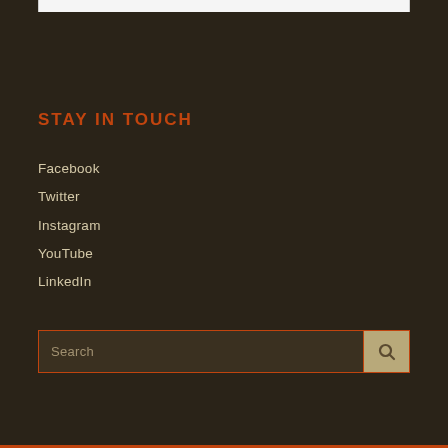STAY IN TOUCH
Facebook
Twitter
Instagram
YouTube
LinkedIn
Search